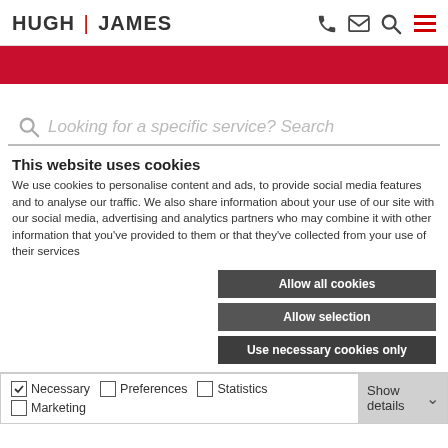HUGH | JAMES
[Figure (illustration): Red banner/hero strip below header navigation]
Looking for a specific service? Search
This website uses cookies
We use cookies to personalise content and ads, to provide social media features and to analyse our traffic. We also share information about your use of our site with our social media, advertising and analytics partners who may combine it with other information that you've provided to them or that they've collected from your use of their services
Allow all cookies
Allow selection
Use necessary cookies only
Necessary  Preferences  Statistics  Marketing  Show details